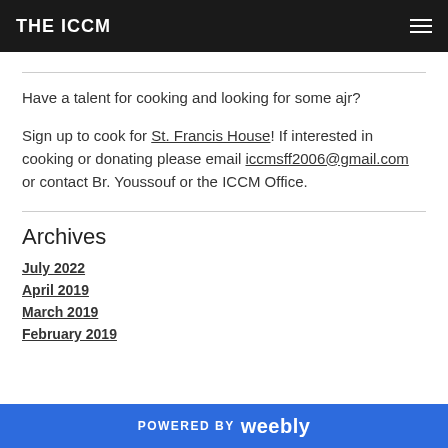THE ICCM
Have a talent for cooking and looking for some ajr?
Sign up to cook for St. Francis House! If interested in cooking or donating please email iccmsff2006@gmail.com or contact Br. Youssouf or the ICCM Office.
Archives
July 2022
April 2019
March 2019
February 2019
POWERED BY weebly